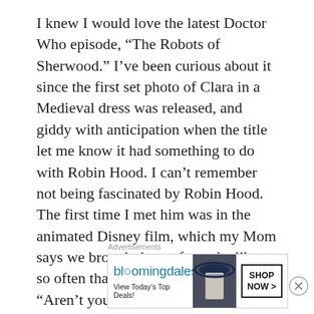I knew I would love the latest Doctor Who episode, “The Robots of Sherwood.” I’ve been curious about it since the first set photo of Clara in a Medieval dress was released, and giddy with anticipation when the title let me know it had something to do with Robin Hood. I can’t remember not being fascinated by Robin Hood. The first time I met him was in the animated Disney film, which my Mom says we brought home from the library so often that the librarians teased her, “Aren’t you ever going to buy that movie?” I vaguely recall finding a copy of Howard Pyle’s “The Merry Adventures of Robin Hood” in a little back corner of the library, then buying my own copy
Advertisements
[Figure (other): Bloomingdale's advertisement banner with logo, tagline 'View Today's Top Deals!', a photo of a woman in a blue hat, and a 'SHOP NOW >' button]